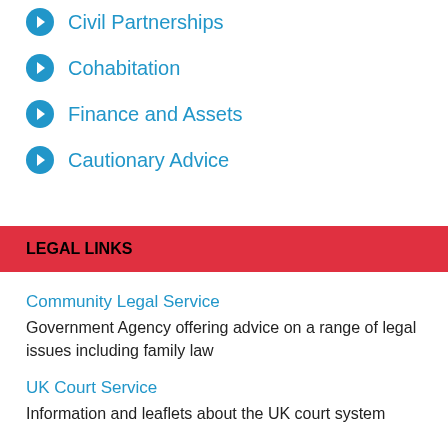Civil Partnerships
Cohabitation
Finance and Assets
Cautionary Advice
LEGAL LINKS
Community Legal Service
Government Agency offering advice on a range of legal issues including family law
UK Court Service
Information and leaflets about the UK court system